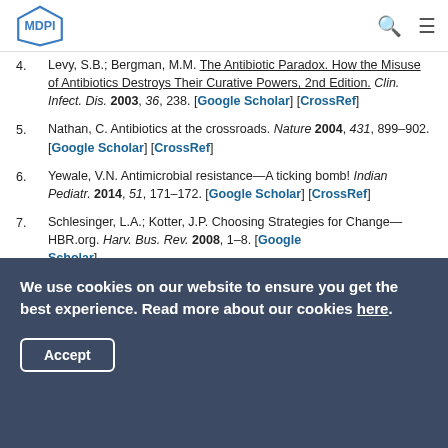MDPI
4. Levy, S.B.; Bergman, M.M. The Antibiotic Paradox. How the Misuse of Antibiotics Destroys Their Curative Powers, 2nd Edition. Clin. Infect. Dis. 2003, 36, 238. [Google Scholar] [CrossRef]
5. Nathan, C. Antibiotics at the crossroads. Nature 2004, 431, 899–902. [Google Scholar] [CrossRef]
6. Yewale, V.N. Antimicrobial resistance—A ticking bomb! Indian Pediatr. 2014, 51, 171–172. [Google Scholar] [CrossRef]
7. Schlesinger, L.A.; Kotter, J.P. Choosing Strategies for Change—HBR.org. Harv. Bus. Rev. 2008, 1–8. [Google Scholar]
We use cookies on our website to ensure you get the best experience. Read more about our cookies here.
Accept